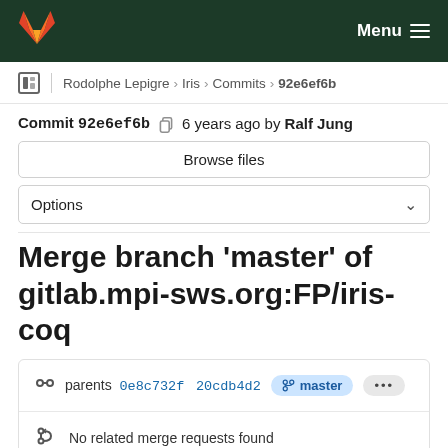GitLab — Menu
Rodolphe Lepigre › Iris › Commits › 92e6ef6b
Commit 92e6ef6b  6 years ago by Ralf Jung
Browse files
Options
Merge branch 'master' of gitlab.mpi-sws.org:FP/iris-coq
parents 0e8c732f 20cdb4d2  master  ...
No related merge requests found